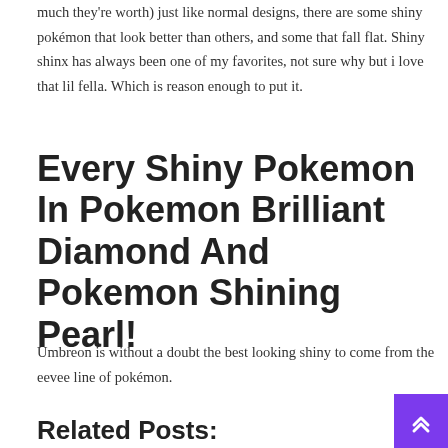much they're worth) just like normal designs, there are some shiny pokémon that look better than others, and some that fall flat. Shiny shinx has always been one of my favorites, not sure why but i love that lil fella. Which is reason enough to put it.
Every Shiny Pokemon In Pokemon Brilliant Diamond And Pokemon Shining Pearl!
Umbreon is without a doubt the best looking shiny to come from the eevee line of pokémon.
Related Posts: